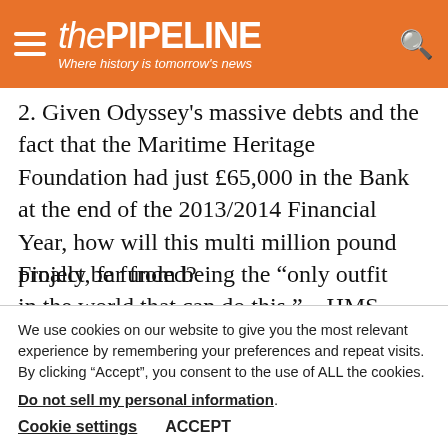thePIPELINE — Where history is tomorrow's news
2.  Given Odyssey's massive debts and the fact that the Maritime Heritage Foundation had just £65,000 in the Bank at the end of the 2013/2014 Financial Year, how will this multi million pound project be funded?
Finally, far from being the “only outfit in the world that can do this.”  HMS Victory is actually within reach of modern technical divers of whom there are many in the UK thanks to advances in technology and the UK’s
We use cookies on our website to give you the most relevant experience by remembering your preferences and repeat visits. By clicking “Accept”, you consent to the use of ALL the cookies.
Do not sell my personal information.
Cookie settings  ACCEPT